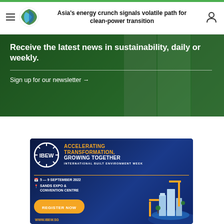Asia's energy crunch signals volatile path for clean-power transition
Receive the latest news in sustainability, daily or weekly.
Sign up for our newsletter →
[Figure (infographic): IBEW advertisement banner: Accelerating Transformation, Growing Together. International Built Environment Week. 5–9 September 2022. Sands Expo & Convention Centre. Register Now. www.ibew.sg]